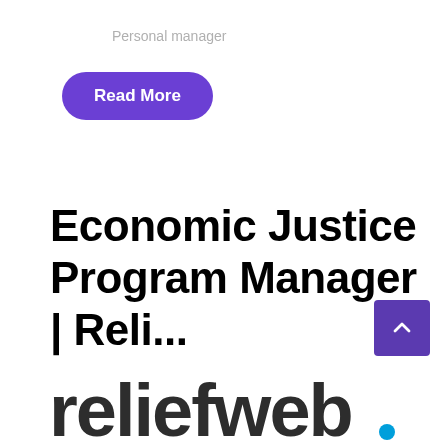Personal manager
Read More
Economic Justice Program Manager | Reli...
[Figure (logo): ReliefWeb logo text in dark gray with teal dot accent, partially cropped at bottom of page]
[Figure (other): Purple scroll-to-top button with upward caret arrow, bottom-right corner]